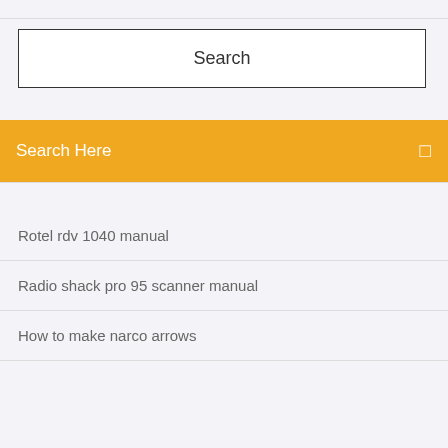[Figure (screenshot): Top partial bar element at the very top of the page, gray background]
Search
Search Here
Rotel rdv 1040 manual
Radio shack pro 95 scanner manual
How to make narco arrows